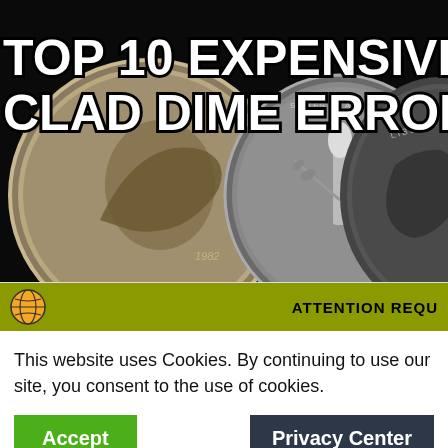[Figure (photo): Three Roosevelt dimes photographed close-up on a dark background, showing heads/obverse and reverse sides. The center coin shows the reverse with torch and olive branch. Text overlay reads TOP 10 EXPENSIVE CLAD DIME ERRORS in large bold white letters with black stroke.]
This website uses Cookies. By continuing to use our site, you consent to the use of cookies.
Accept
Privacy Center
varieties: I chose only clad dimes so that they are ones